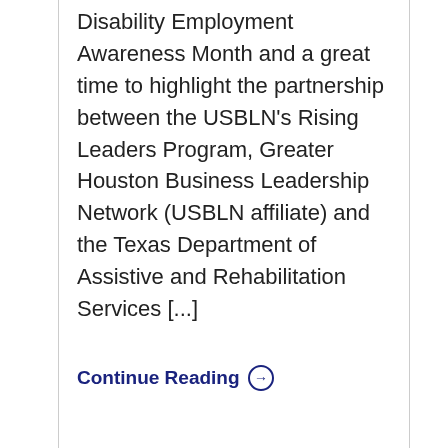Disability Employment Awareness Month and a great time to highlight the partnership between the USBLN's Rising Leaders Program, Greater Houston Business Leadership Network (USBLN affiliate) and the Texas Department of Assistive and Rehabilitation Services [...]
Continue Reading →